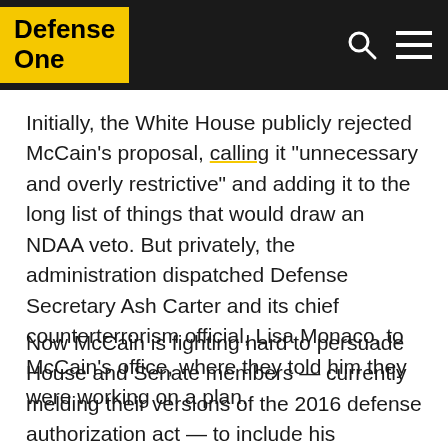Defense One
Initially, the White House publicly rejected McCain's proposal, calling it “unnecessary and overly restrictive” and adding it to the long list of things that would draw an NDAA veto. But privately, the administration dispatched Defense Secretary Ash Carter and its chief counterterrorism official, Lisa Monaco, to McCain’s office, where they told him they were working on a plan.
Now McCain is fighting hard to persuade House and Senate members — currently melding their versions of the 2016 defense authorization act — to include his provision, though he bills the both of their initial bill...